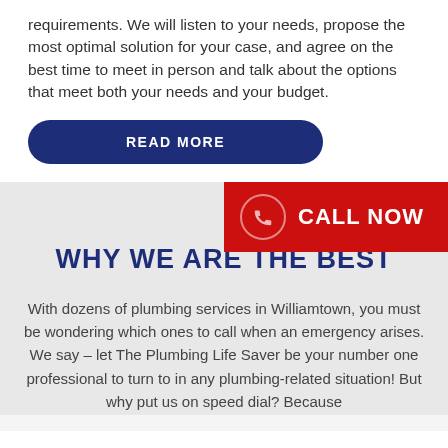requirements. We will listen to your needs, propose the most optimal solution for your case, and agree on the best time to meet in person and talk about the options that meet both your needs and your budget.
READ MORE
WHY WE ARE THE BEST
With dozens of plumbing services in Williamtown, you must be wondering which ones to call when an emergency arises. We say – let The Plumbing Life Saver be your number one professional to turn to in any plumbing-related situation! But why put us on speed dial? Because